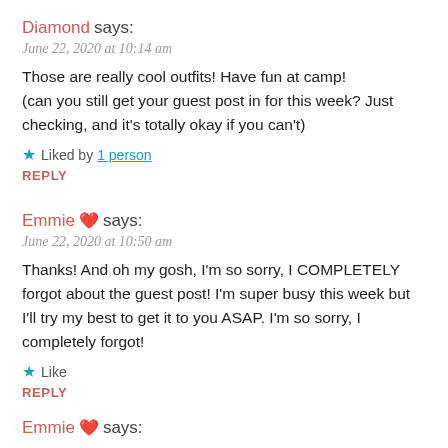Diamond says:
June 22, 2020 at 10:14 am
Those are really cool outfits! Have fun at camp!
(can you still get your guest post in for this week? Just checking, and it's totally okay if you can't)
★ Liked by 1 person
REPLY
Emmie 💗 says:
June 22, 2020 at 10:50 am
Thanks! And oh my gosh, I'm so sorry, I COMPLETELY forgot about the guest post! I'm super busy this week but I'll try my best to get it to you ASAP. I'm so sorry, I completely forgot!
★ Like
REPLY
Emmie 💗 says: